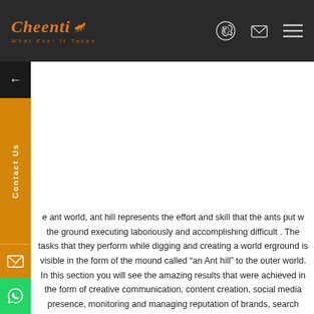Cheenti — What Ever It Takes
[Figure (logo): Cheenti logo with ant graphic in orange on dark background, tagline 'What Ever It Takes']
Contact Us
e ant world, ant hill represents the effort and skill that the ants put w the ground executing laboriously and accomplishing difficult . The tasks that they perform while digging and creating a world erground is visible in the form of the mound called “an Ant hill” to the outer world. In this section you will see the amazing results that were achieved in the form of creative communication, content creation, social media presence, monitoring and managing reputation of brands, search engine optimization and efficient management of paid media with some spectacular ROI for our